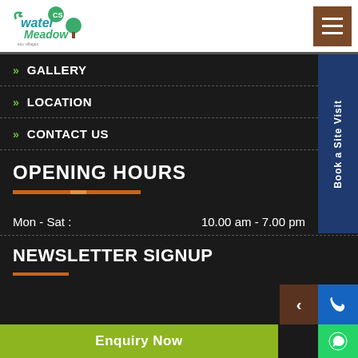[Figure (logo): Water Meadow CS logo with stylized text and tree graphic]
» GALLERY
» LOCATION
» CONTACT US
OPENING HOURS
Mon - Sat :   10.00 am - 7.00 pm
NEWSLETTER SIGNUP
Enquiry Now